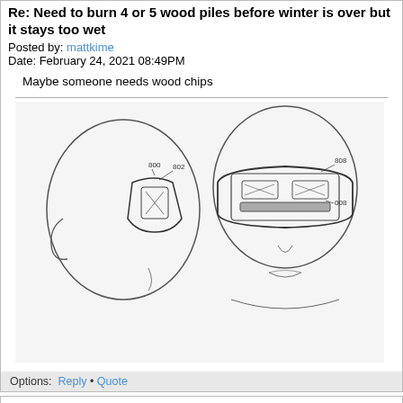Re: Need to burn 4 or 5 wood piles before winter is over but it stays too wet
Posted by: mattkime
Date: February 24, 2021 08:49PM
Maybe someone needs wood chips
[Figure (illustration): Patent-style technical drawing showing side profile and front view of a head wearing VR/AR goggles with labeled components (800, 802, 808, 008)]
Options: Reply • Quote
Re: Need to burn 4 or 5 wood piles before winter is over but it stays too wet
Posted by: vision63
Date: February 25, 2021 04:50AM
Quote
Dennis S
People here don't burn pine